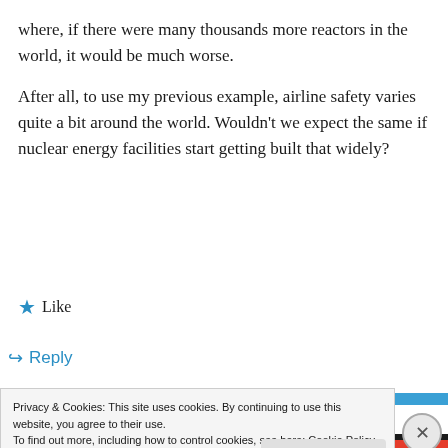where, if there were many thousands more reactors in the world, it would be much worse.
After all, to use my previous example, airline safety varies quite a bit around the world. Wouldn't we expect the same if nuclear energy facilities start getting built that widely?
★ Like
↪ Reply
Privacy & Cookies: This site uses cookies. By continuing to use this website, you agree to their use.
To find out more, including how to control cookies, see here: Cookie Policy
Close and accept